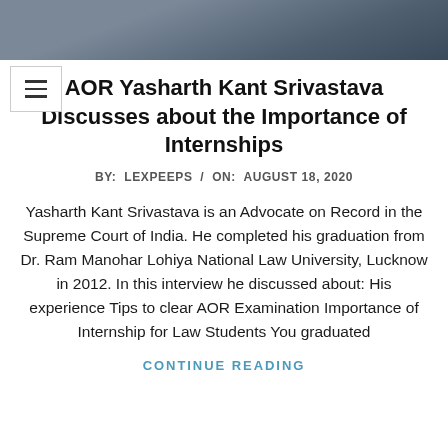[Figure (photo): Partial view of a man in a suit, photo cropped showing upper torso and face area]
AOR Yasharth Kant Srivastava Discusses about the Importance of Internships
BY: LEXPEEPS / ON: AUGUST 18, 2020
Yasharth Kant Srivastava is an Advocate on Record in the Supreme Court of India. He completed his graduation from Dr. Ram Manohar Lohiya National Law University, Lucknow in 2012. In this interview he discussed about: His experience Tips to clear AOR Examination Importance of Internship for Law Students You graduated
CONTINUE READING